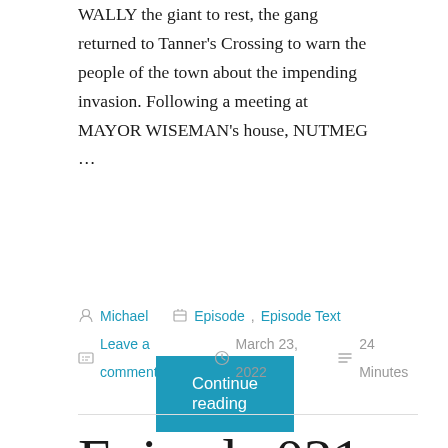WALLY the giant to rest, the gang returned to Tanner's Crossing to warn the people of the town about the impending invasion. Following a meeting at MAYOR WISEMAN's house, NUTMEG …
Continue reading
Michael   Episode, Episode Text   Leave a comment   March 23, 2022   24 Minutes
Episode 021 (Text): Unquiet